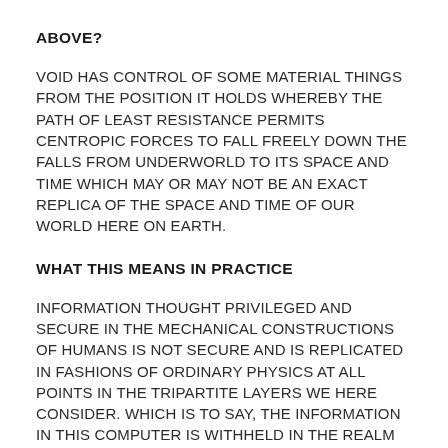ABOVE?
VOID HAS CONTROL OF SOME MATERIAL THINGS FROM THE POSITION IT HOLDS WHEREBY THE PATH OF LEAST RESISTANCE PERMITS CENTROPIC FORCES TO FALL FREELY DOWN THE FALLS FROM UNDERWORLD TO ITS SPACE AND TIME WHICH MAY OR MAY NOT BE AN EXACT REPLICA OF THE SPACE AND TIME OF OUR WORLD HERE ON EARTH.
WHAT THIS MEANS IN PRACTICE
INFORMATION THOUGHT PRIVILEGED AND SECURE IN THE MECHANICAL CONSTRUCTIONS OF HUMANS IS NOT SECURE AND IS REPLICATED IN FASHIONS OF ORDINARY PHYSICS AT ALL POINTS IN THE TRIPARTITE LAYERS WE HERE CONSIDER. WHICH IS TO SAY, THE INFORMATION IN THIS COMPUTER IS WITHHELD IN THE REALM OF UNDERWORLD AND THE REALM FROM